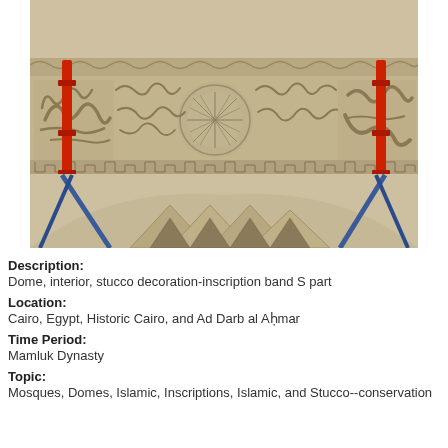[Figure (photo): Interior of a dome showing a decorative stucco inscription band with Arabic calligraphy and geometric patterns, with red scaffolding visible on left and right sides. Below the band shows an arched area with geometric decorative stonework.]
Description: Dome, interior, stucco decoration-inscription band S part
Location: Cairo, Egypt, Historic Cairo, and Ad Darb al Aḥmar
Time Period: Mamluk Dynasty
Topic: Mosques, Domes, Islamic, Inscriptions, Islamic, and Stucco--conservation